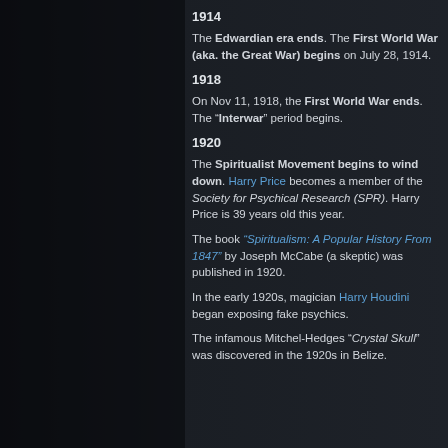1914
The Edwardian era ends. The First World War (aka. the Great War) begins on July 28, 1914.
1918
On Nov 11, 1918, the First World War ends. The “Interwar” period begins.
1920
The Spiritualist Movement begins to wind down. Harry Price becomes a member of the Society for Psychical Research (SPR). Harry Price is 39 years old this year.
The book “Spiritualism: A Popular History From 1847” by Joseph McCabe (a skeptic) was published in 1920.
In the early 1920s, magician Harry Houdini began exposing fake psychics.
The infamous Mitchel-Hedges “Crystal Skull” was discovered in the 1920s in Belize.